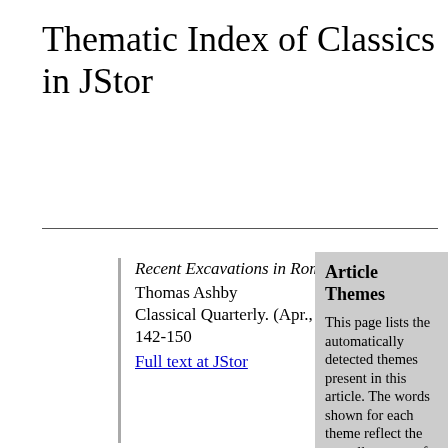Thematic Index of Classics in JStor
Recent Excavations in Rome
Thomas Ashby
Classical Quarterly. (Apr., 1908) pp. 142-150
Full text at JStor
Article Themes
This page lists the automatically detected themes present in this article. The words shown for each theme reflect the overall content of the theme.